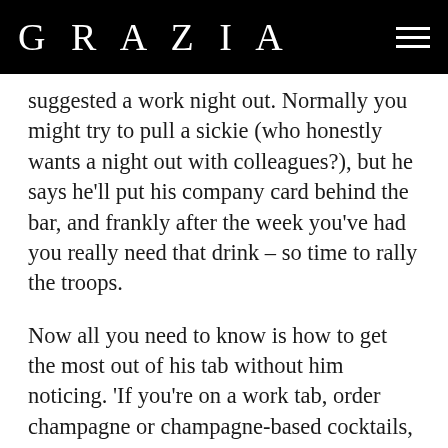GRAZIA
suggested a work night out. Normally you might try to pull a sickie (who honestly wants a night out with colleagues?), but he says he'll put his company card behind the bar, and frankly after the week you've had you really need that drink – so time to rally the troops.
Now all you need to know is how to get the most out of his tab without him noticing. 'If you're on a work tab, order champagne or champagne-based cocktails, the Rossini and Bellini are both made with Champagne with the edition of strawberries or peaches' Emilie, one of Bacardi's bartenders who has worked around the world tells The Debrief. These drinks are easy to